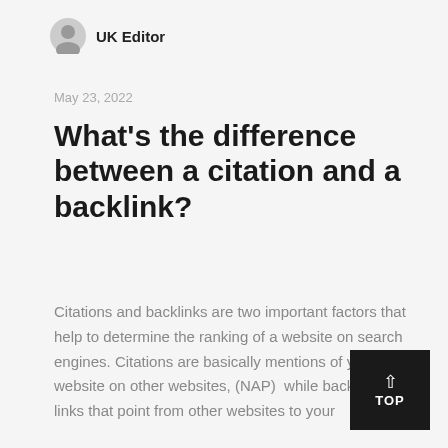UK Editor
May 23, 2022
What's the difference between a citation and a backlink?
Citations and backlinks are two important factors that help to determine the ranking of a website on search engines. Citations are basically mentions of your website on other websites, (NAP)  while backlinks are links that point from other websites to your